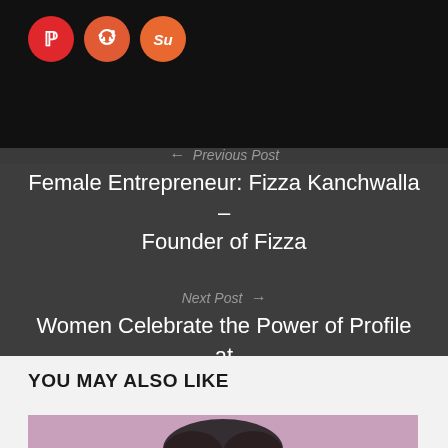[Figure (other): Social sharing icons row: Pinterest (red circle with P), Reddit (orange-red circle with alien), StumbleUpon (orange circle with su)]
← Previous Post
Female Entrepreneur: Fizza Kanchwalla – Founder of Fizza
Next Post →
Women Celebrate the Power of Profile at Mumbai WATC Event | Caroline Graham
YOU MAY ALSO LIKE
[Figure (photo): Partial photo of a woman with dark hair against a purple/pink background — cropped at page bottom]